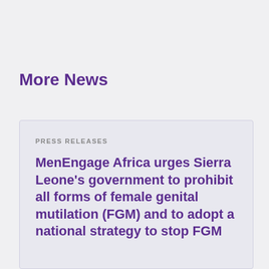More News
PRESS RELEASES
MenEngage Africa urges Sierra Leone's government to prohibit all forms of female genital mutilation (FGM) and to adopt a national strategy to stop FGM